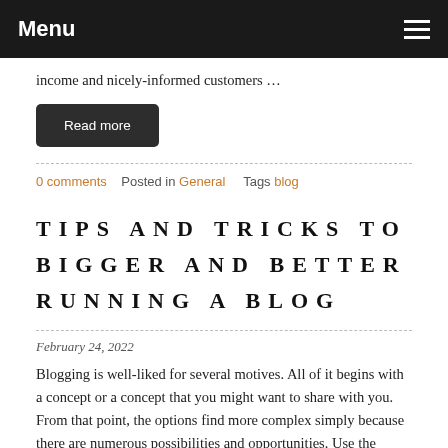Menu
income and nicely-informed customers …
Read more
0 comments   Posted in General   Tags blog
TIPS AND TRICKS TO BIGGER AND BETTER RUNNING A BLOG
February 24, 2022
Blogging is well-liked for several motives. All of it begins with a concept or a concept that you might want to share with you. From that point, the options find more complex simply because there are numerous possibilities and opportunities. Use the information and facts and tips in this post to hel…